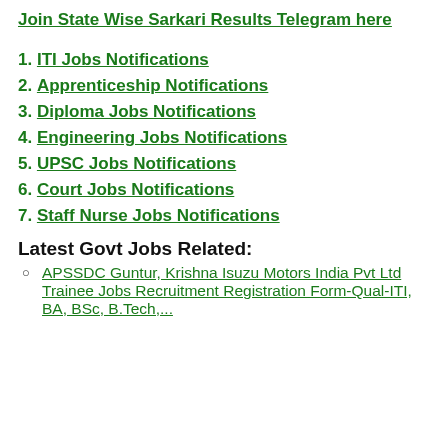Join State Wise Sarkari Results Telegram here
1. ITI Jobs Notifications
2. Apprenticeship Notifications
3. Diploma Jobs Notifications
4. Engineering Jobs Notifications
5. UPSC Jobs Notifications
6. Court Jobs Notifications
7. Staff Nurse Jobs Notifications
Latest Govt Jobs Related:
APSSDC Guntur, Krishna Isuzu Motors India Pvt Ltd Trainee Jobs Recruitment Registration Form-Qual-ITI, BA, BSc, B.Tech,...